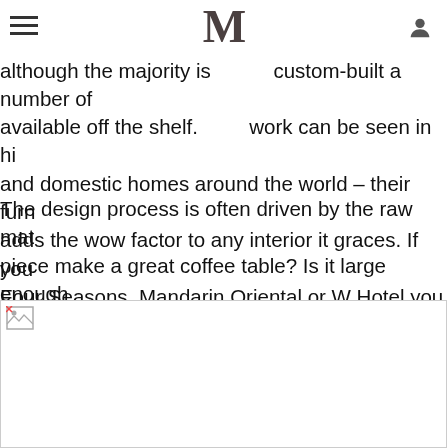M (logo/navigation header)
Florida. Their furniture is either made in the US or although the majority is custom-built a number of available off the shelf. Their work can be seen in hotels and domestic homes around the world – their furniture adds the wow factor to any interior it graces. If you stay at Four Seasons, Mandarin Oriental or W Hotel you may have seen their furniture?
The design process is often driven by the raw material. Does a piece make a great coffee table? Is it large enough for a dining table? The wood used is sourced from California, B... Rica. Often found in isolated areas each piece is assessed by the design team of Rotsen to determine the most appropriate...
[Figure (photo): Image placeholder (broken image icon), white rectangle with border]